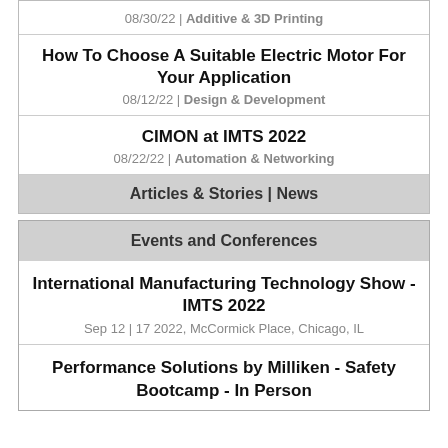08/30/22 | Additive & 3D Printing
How To Choose A Suitable Electric Motor For Your Application
08/12/22 | Design & Development
CIMON at IMTS 2022
08/22/22 | Automation & Networking
Articles & Stories | News
Events and Conferences
International Manufacturing Technology Show - IMTS 2022
Sep 12 | 17 2022, McCormick Place, Chicago, IL
Performance Solutions by Milliken - Safety Bootcamp - In Person